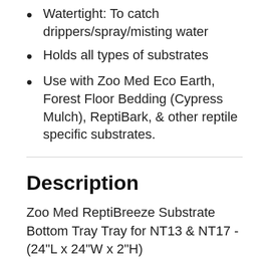Watertight: To catch drippers/spray/misting water
Holds all types of substrates
Use with Zoo Med Eco Earth, Forest Floor Bedding (Cypress Mulch), ReptiBark, & other reptile specific substrates.
Description
Zoo Med ReptiBreeze Substrate Bottom Tray Tray for NT13 & NT17 - (24"L x 24"W x 2"H)
Zoo Med ReptiBreeze Substrate Bottom Trays are specially designed for easy substrate addition and removal in your standard ReptiBreeze or ReptiBreeze LED Deluxe Screen Enclosure. These